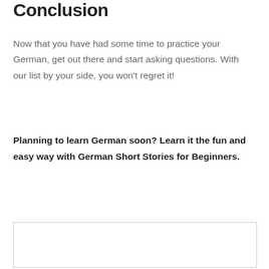Conclusion
Now that you have had some time to practice your German, get out there and start asking questions. With our list by your side, you won't regret it!
Planning to learn German soon? Learn it the fun and easy way with German Short Stories for Beginners.
[Figure (other): Empty bordered box at the bottom of the page]